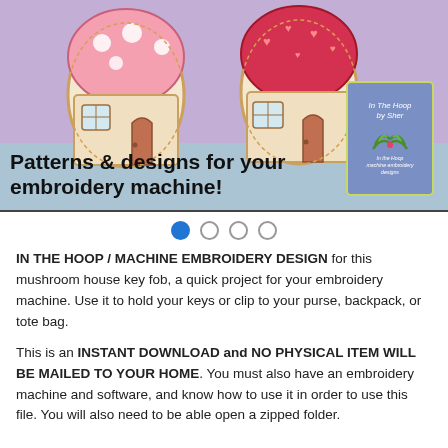[Figure (photo): Photo of two embroidered mushroom house key fobs on a purple background with a banner reading 'Patterns & designs for your embroidery machine!' and a brand badge 'In The Hoop by Sher']
IN THE HOOP / MACHINE EMBROIDERY DESIGN for this mushroom house key fob, a quick project for your embroidery machine. Use it to hold your keys or clip to your purse, backpack, or tote bag.
This is an INSTANT DOWNLOAD and NO PHYSICAL ITEM WILL BE MAILED TO YOUR HOME. You must also have an embroidery machine and software, and know how to use it in order to use this file. You will also need to be able open a zipped folder.